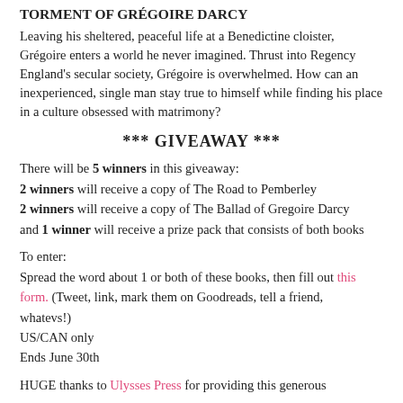TORMENT OF GRÉGOIRE DARCY
Leaving his sheltered, peaceful life at a Benedictine cloister, Grégoire enters a world he never imagined. Thrust into Regency England's secular society, Grégoire is overwhelmed. How can an inexperienced, single man stay true to himself while finding his place in a culture obsessed with matrimony?
*** GIVEAWAY ***
There will be 5 winners in this giveaway:
2 winners will receive a copy of The Road to Pemberley
2 winners will receive a copy of The Ballad of Gregoire Darcy and 1 winner will receive a prize pack that consists of both books
To enter:
Spread the word about 1 or both of these books, then fill out this form. (Tweet, link, mark them on Goodreads, tell a friend, whatevs!)
US/CAN only
Ends June 30th
HUGE thanks to Ulysses Press for providing this generous giveaway!